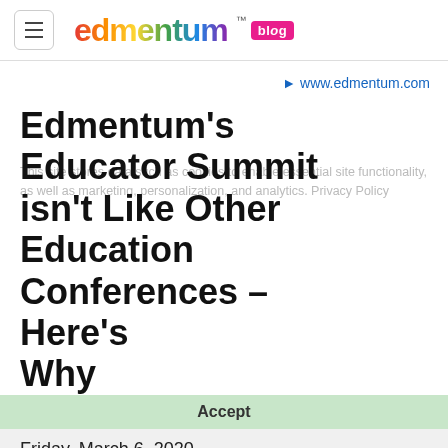edmentum blog
www.edmentum.com
Edmentum's Educator Summit isn't Like Other Education Conferences – Here's Why
This site stores data such as cookies to enable essential site functionality, as well as marketing, personalization, and analytics. Privacy Policy
Accept
Friday, March 6, 2020